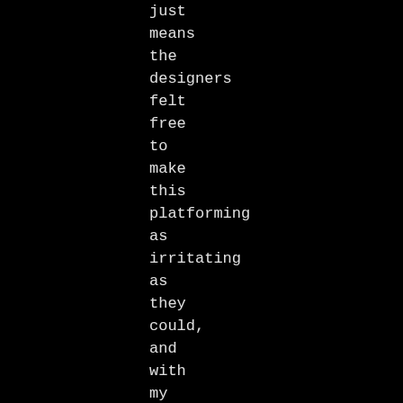just means the designers felt free to make this platforming as irritating as they could, and with my stuttering issues (see below)